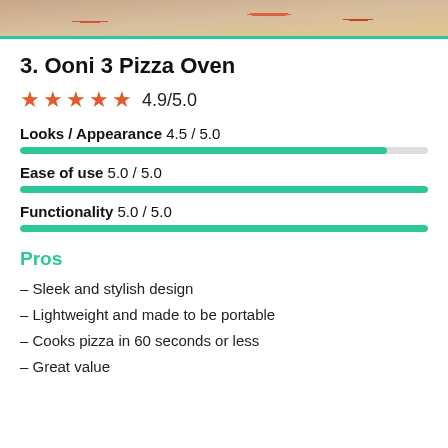[Figure (photo): Partial photo of pizza at the top of the page with a teal/green border at bottom]
3. Ooni 3 Pizza Oven
★★★★★ 4.9/5.0
Looks / Appearance 4.5 / 5.0
Ease of use 5.0 / 5.0
Functionality 5.0 / 5.0
Pros
– Sleek and stylish design
– Lightweight and made to be portable
– Cooks pizza in 60 seconds or less
– Great value